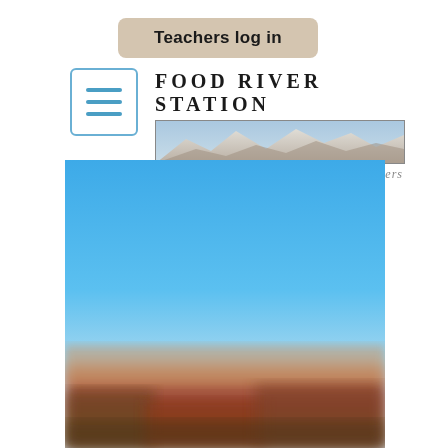Teachers log in
[Figure (logo): Food River Station logo with mountain landscape image and tagline 'Food Source Matters']
[Figure (photo): Outdoor landscape photo showing blue sky gradient transitioning to blurred reddish-brown farmland or field in foreground]